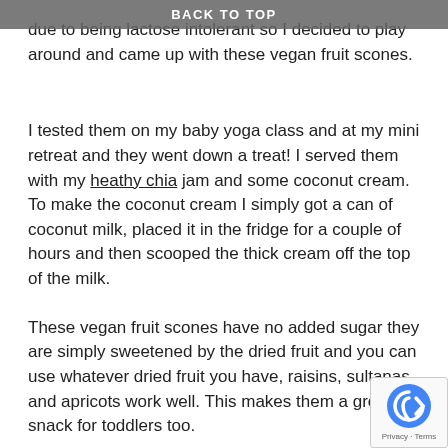BACK TO TOP
due to being lactose intolerant so I decided to play around and came up with these vegan fruit scones.
I tested them on my baby yoga class and at my mini retreat and they went down a treat! I served them with my heathy chia jam and some coconut cream. To make the coconut cream I simply got a can of coconut milk, placed it in the fridge for a couple of hours and then scooped the thick cream off the top of the milk.
These vegan fruit scones have no added sugar they are simply sweetened by the dried fruit and you can use whatever dried fruit you have, raisins, sultanas and apricots work well. This makes them a great snack for toddlers too.
Ingredients for Vegan Fruit Scones: